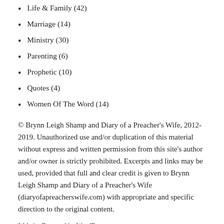Life & Family (42)
Marriage (14)
Ministry (30)
Parenting (6)
Prophetic (10)
Quotes (4)
Women Of The Word (14)
© Brynn Leigh Shamp and Diary of a Preacher's Wife, 2012-2019. Unauthorized use and/or duplication of this material without express and written permission from this site's author and/or owner is strictly prohibited. Excerpts and links may be used, provided that full and clear credit is given to Brynn Leigh Shamp and Diary of a Preacher's Wife (diaryofapreacherswife.com) with appropriate and specific direction to the original content.
Website Powered by WordPress.com.